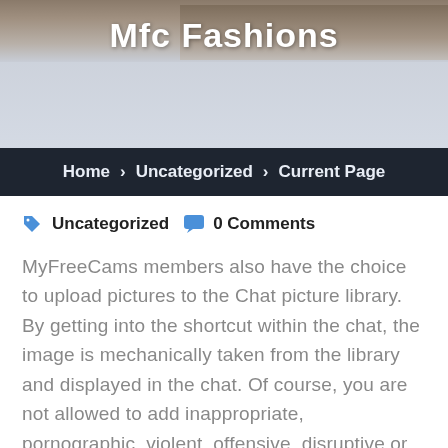[Figure (photo): Website header banner with blurred background photo and site title 'Mfc Fashions' in white bold text]
Home > Uncategorized > Current Page
🏷 Uncategorized   💬 0 Comments
MyFreeCams members also have the choice to upload pictures to the Chat picture library. By getting into the shortcut within the chat, the image is mechanically taken from the library and displayed in the chat. Of course, you are not allowed to add inappropriate, pornographic, violent, offensive, disruptive or copyrighted pictures within the chat. It can additionally be not clever to publish photos